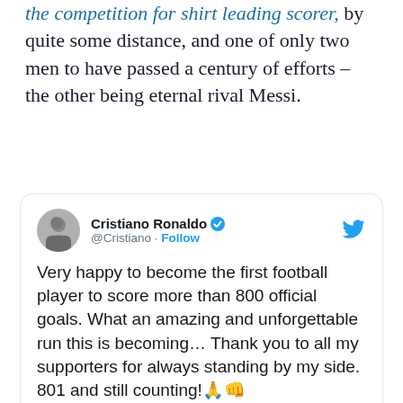the competition for shirt leading scorer, by quite some distance, and one of only two men to have passed a century of efforts – the other being eternal rival Messi.
[Figure (screenshot): Embedded tweet from Cristiano Ronaldo (@Cristiano) with verified badge and Follow button. Tweet text: 'Very happy to become the first football player to score more than 800 official goals. What an amazing and unforgettable run this is becoming… Thank you to all my supporters for always standing by my side. 801 and still counting! 🙏👊' with a video/image attachment showing 'Watch on Twitter' overlay.]